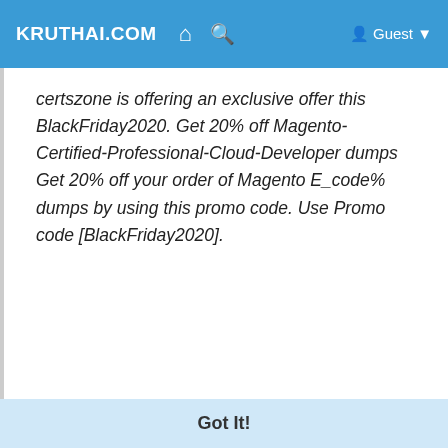KRUTHAI.COM  🏠  🔍  Guest
certszone is offering an exclusive offer this BlackFriday2020. Get 20% off Magento-Certified-Professional-Cloud-Developer dumps Get 20% off your order of Magento E_code% dumps by using this promo code. Use Promo code [BlackFriday2020].
Get Your Money Back if Failed at the Magento-Certified-Professional-Cloud-Developer Exam For Free
...aims that all candidates must get the authentic information to pass the Magento-Certified-Professional-Cloud-Developer Magento Certified Professional Cloud Developer exam without putting their effort, time, and money more
This website uses cookies to ensure you get the best experience on our website.
Learn More
Got It!